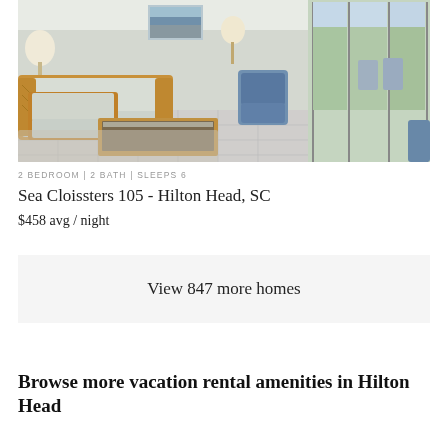[Figure (photo): Interior photo of a vacation rental living room with wicker/rattan furniture, light cushions, tile floor, large windows with balcony view, coastal decor]
2 BEDROOM | 2 BATH | SLEEPS 6
Sea Cloissters 105 - Hilton Head, SC
$458 avg / night
View 847 more homes
Browse more vacation rental amenities in Hilton Head